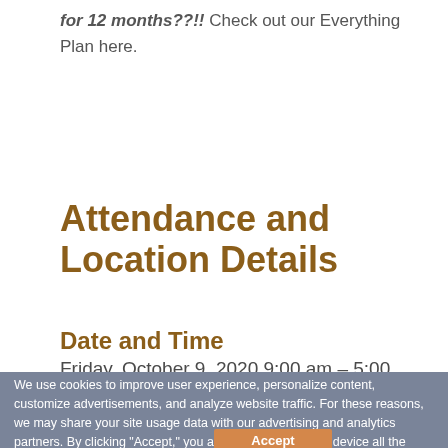for 12 months??!! Check out our Everything Plan here.
Attendance and Location Details
Date and Time
Friday, October 9, 2020 9:00 am – 5:00 pm
We use cookies to improve user experience, personalize content, customize advertisements, and analyze website traffic. For these reasons, we may share your site usage data with our advertising and analytics partners. By clicking "Accept," you agree to store on your device all the technologies described in our Cookie Policy. You can change your cookie settings at any time by clicking "Preferences."
*Live Webinar Attendees: YouTube Live/Zoom link will be emailed to you 24-48 hours prior to event date.